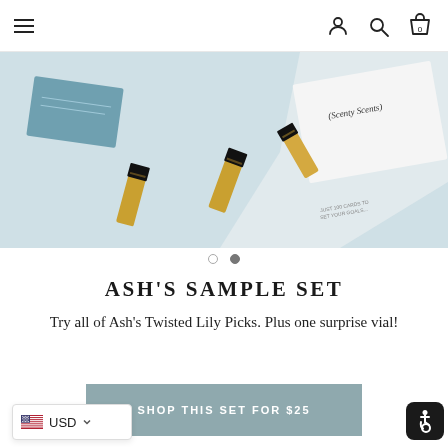Navigation header with hamburger menu, user icon, search icon, and shopping bag with 0 items
[Figure (photo): Product photo showing three gold and black perfume/cologne vials/sample bottles arranged on a light blue-grey surface, with a card featuring handwritten text and a printed card visible in the background]
● ●  (carousel dots, second dot active)
ASH'S SAMPLE SET
Try all of Ash's Twisted Lily Picks. Plus one surprise vial!
SHOP THIS SET FOR $25
USD (currency selector with US flag and dropdown arrow)
[Figure (logo): Accessibility icon (wheelchair symbol) on black rounded square background]